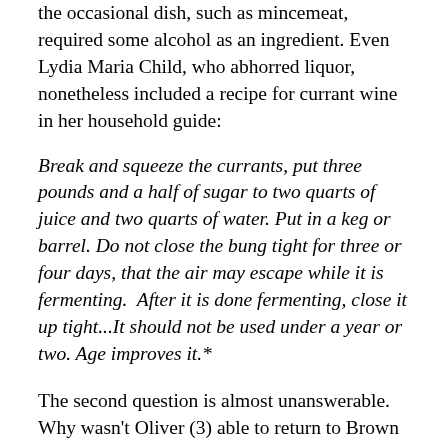the occasional dish, such as mincemeat, required some alcohol as an ingredient. Even Lydia Maria Child, who abhorred liquor, nonetheless included a recipe for currant wine in her household guide:
Break and squeeze the currants, put three pounds and a half of sugar to two quarts of juice and two quarts of water. Put in a keg or barrel. Do not close the bung tight for three or four days, that the air may escape while it is fermenting.  After it is done fermenting, close it up tight...It should not be used under a year or two. Age improves it.*
The second question is almost unanswerable. Why wasn't Oliver (3) able to return to Brown University? He wanted to, but clearly the decision wasn't his to make, nor did it appear to be the school's choice. Rather, the decision to cease attendance lay with Oliver (3)'s father, Oakes